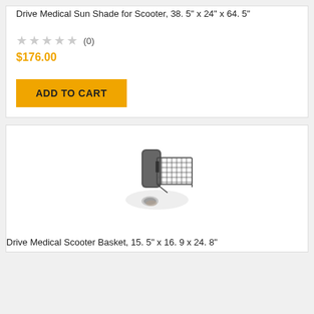Drive Medical Sun Shade for Scooter, 38. 5" x 24" x 64. 5"
★★★★★ (0)
$176.00
ADD TO CART
[Figure (photo): Photo of a scooter basket, a wire cage attached to the back of a mobility scooter seat]
Drive Medical Scooter Basket, 15. 5" x 16. 9 x 24. 8"